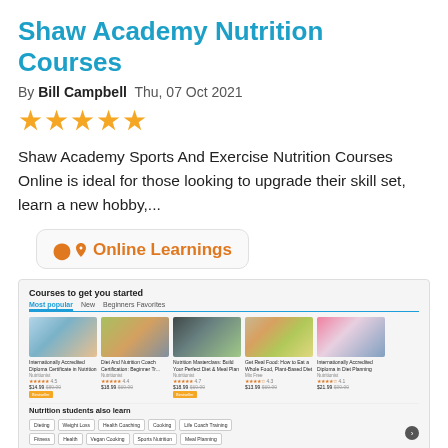Shaw Academy Nutrition Courses
By Bill Campbell  Thu, 07 Oct 2021
★★★★★
Shaw Academy Sports And Exercise Nutrition Courses Online is ideal for those looking to upgrade their skill set, learn a new hobby,...
📍 Online Learnings
[Figure (screenshot): Screenshot of a course platform showing 'Courses to get you started' with tabs Most popular, New, Beginners Favorites. Five course cards are shown with images, titles, star ratings, and prices. Below is a 'Nutrition students also learn' section with category tags: Dieting, Weight Loss, Health Coaching, Cooking, Life Coach Training, Fitness, Health, Vegan Cooking, Sports Nutrition, Meal Planning.]
Udemy Nutrition Courses
By Bill Campbell  Thu, 07 Oct 2021
★★★★★